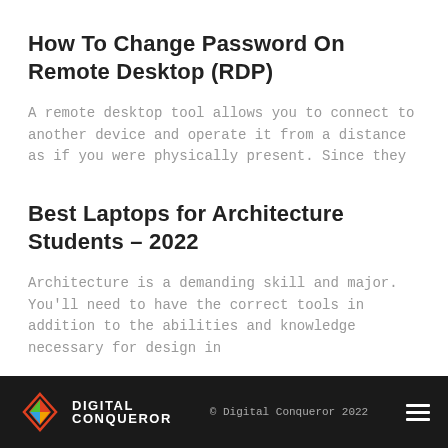How To Change Password On Remote Desktop (RDP)
A remote desktop tool allows you to connect to another device and operate it from a distance as if you were physically present. Since they
Best Laptops for Architecture Students – 2022
Architecture is a demanding skill and major. You'll need to have the correct tools in addition to the abilities and knowledge necessary for design in
© Digital Conqueror 2022